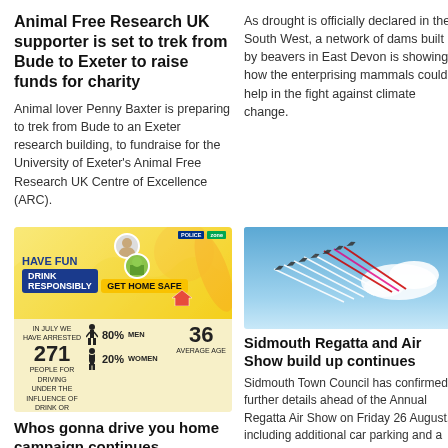Animal Free Research UK supporter is set to trek from Bude to Exeter to raise funds for charity
Animal lover Penny Baxter is preparing to trek from Bude to an Exeter research building, to fundraise for the University of Exeter's Animal Free Research UK Centre of Excellence (ARC).
As drought is officially declared in the South West, a network of dams built by beavers in East Devon is showing how the enterprising mammals could help in the fight against climate change.
[Figure (infographic): Devon & Cornwall Police summer campaign infographic: 'Have Fun, Drink Responsibly, Get Home Safe'. Stats: In July we have arrested 271 people for driving under the influence of drink or drugs. 80% Men, 20% Women, 36 Average Age. Hashtag: #whosgonnadriveyouhome]
Whos gonna drive you home campaign continues
This summer Devon & Cornwall police
[Figure (photo): Aerial display jets flying in formation with coloured smoke trails against a blue sky — Sidmouth Regatta Air Show]
Sidmouth Regatta and Air Show build up continues
Sidmouth Town Council has confirmed further details ahead of the Annual Regatta Air Show on Friday 26 August, including additional car parking and a reminder to water users of an Air Display Water Safety Zone.